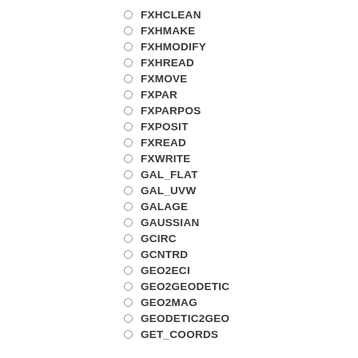FXHCLEAN
FXHMAKE
FXHMODIFY
FXHREAD
FXMOVE
FXPAR
FXPARPOS
FXPOSIT
FXREAD
FXWRITE
GAL_FLAT
GAL_UVW
GALAGE
GAUSSIAN
GCIRC
GCNTRD
GEO2ECI
GEO2GEODETIC
GEO2MAG
GEODETIC2GEO
GET_COORDS